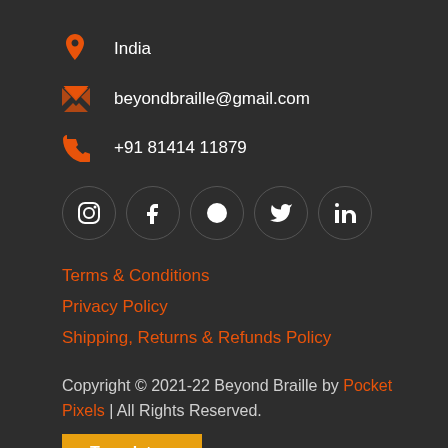India
beyondbraille@gmail.com
+91 81414 11879
[Figure (other): Social media icons: Instagram, Facebook, WhatsApp, Twitter, LinkedIn in dark circular buttons]
Terms & Conditions
Privacy Policy
Shipping, Returns & Refunds Policy
Copyright © 2021-22 Beyond Braille by Pocket Pixels | All Rights Reserved.
Translate »